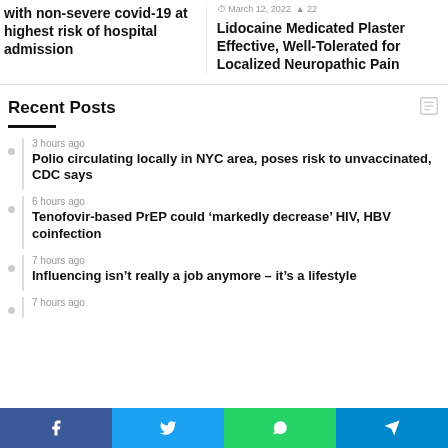with non-severe covid-19 at highest risk of hospital admission
March 12, 2022  22
Lidocaine Medicated Plaster Effective, Well-Tolerated for Localized Neuropathic Pain
Recent Posts
3 hours ago
Polio circulating locally in NYC area, poses risk to unvaccinated, CDC says
6 hours ago
Tenofovir-based PrEP could ‘markedly decrease’ HIV, HBV coinfection
7 hours ago
Influencing isn’t really a job anymore – it’s a lifestyle
7 hours ago